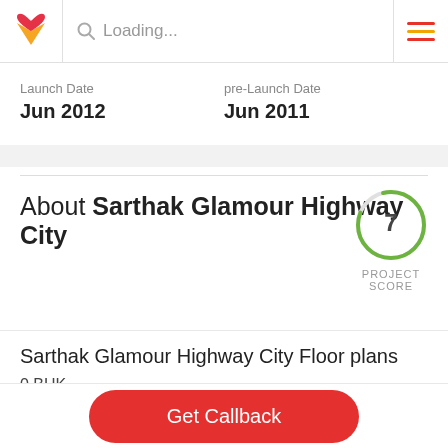Loading...
Launch Date
Jun 2012
pre-Launch Date
Jun 2011
About Sarthak Glamour Highway City
[Figure (other): Circular project score indicator showing score of 7, labeled PROJECT SCORE]
Sarthak Glamour Highway City Floor plans
0 BHK
Get Callback